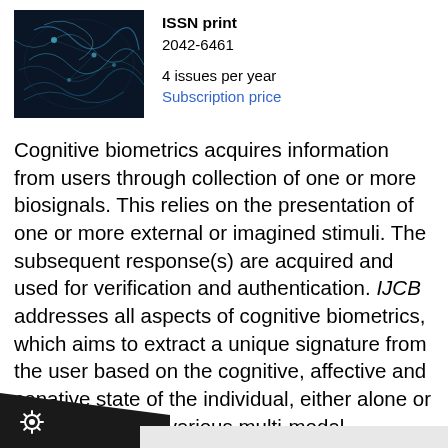[Figure (photo): Journal cover image with dark blue neural/biometric pattern on dark background]
ISSN print
2042-6461

4 issues per year
Subscription price
Cognitive biometrics acquires information from users through collection of one or more biosignals. This relies on the presentation of one or more external or imagined stimuli. The subsequent response(s) are acquired and used for verification and authentication. IJCB addresses all aspects of cognitive biometrics, which aims to extract a unique signature from the user based on the cognitive, affective and conative state of the individual, either alone or more typically in various multi-modal combinations involving conventional and soft biometrics.